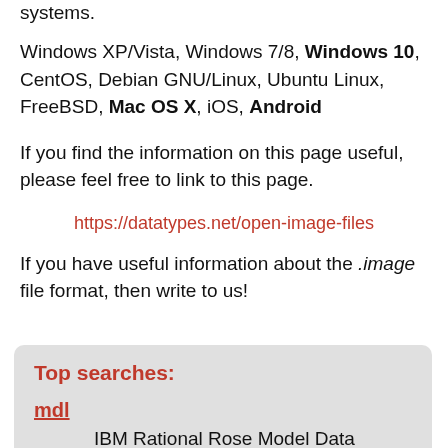systems.
Windows XP/Vista, Windows 7/8, Windows 10, CentOS, Debian GNU/Linux, Ubuntu Linux, FreeBSD, Mac OS X, iOS, Android
If you find the information on this page useful, please feel free to link to this page.
https://datatypes.net/open-image-files
If you have useful information about the .image file format, then write to us!
Top searches:
mdl
IBM Rational Rose Model Data